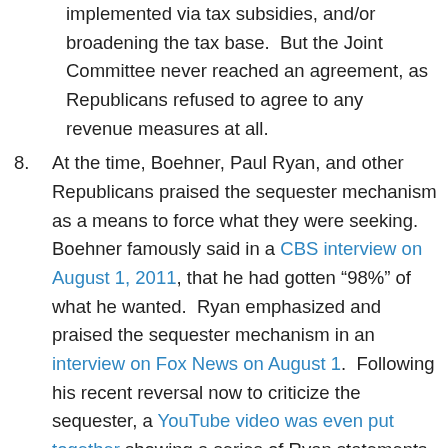implemented via tax subsidies, and/or broadening the tax base.  But the Joint Committee never reached an agreement, as Republicans refused to agree to any revenue measures at all.
8. At the time, Boehner, Paul Ryan, and other Republicans praised the sequester mechanism as a means to force what they were seeking.  Boehner famously said in a CBS interview on August 1, 2011, that he had gotten “98%” of what he wanted.  Ryan emphasized and praised the sequester mechanism in an interview on Fox News on August 1.  Following his recent reversal now to criticize the sequester, a YouTube video was even put together showing a series of Ryan statements over the years in favor of sequester mechanisms (including this one specifically) and statutory spending caps.  And a Power Point